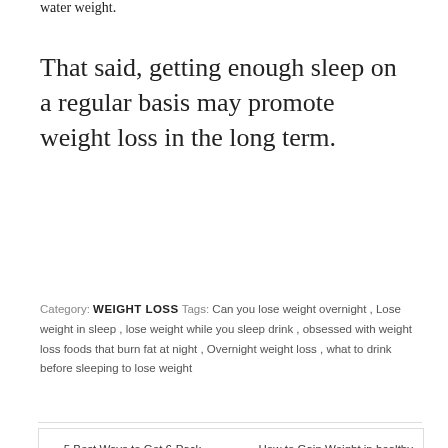water weight.
That said, getting enough sleep on a regular basis may promote weight loss in the long term.
Category: WEIGHT LOSS  Tags: Can you lose weight overnight , Lose weight in sleep , lose weight while you sleep drink , obsessed with weight loss foods that burn fat at night , Overnight weight loss , what to drink before sleeping to lose weight
← 5 Best Ways to Get 6-Pack fast
How to Gain Weight in healthy way. →